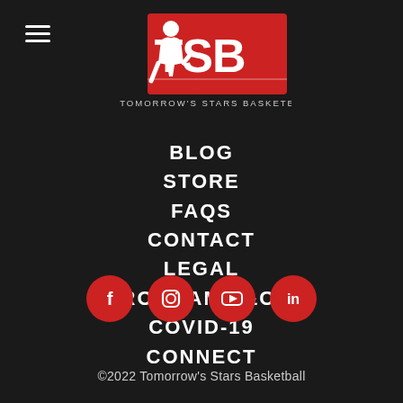[Figure (logo): TSB Tomorrow's Stars Basketball logo - red and white logo with basketball player silhouette, large TSB letters in red, and text TOMORROW'S STARS BASKETBALL below]
BLOG
STORE
FAQS
CONTACT
LEGAL
PROGRAM T&C'S
COVID-19
CONNECT
[Figure (infographic): Four red circular social media icons: Facebook (f), Instagram (camera), YouTube (play button), LinkedIn (in)]
©2022 Tomorrow's Stars Basketball